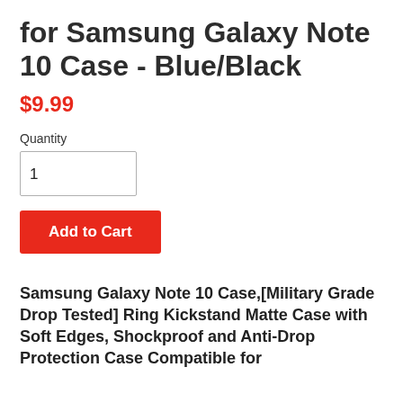for Samsung Galaxy Note 10 Case - Blue/Black
$9.99
Quantity
1
Add to Cart
Samsung Galaxy Note 10 Case,[Military Grade Drop Tested] Ring Kickstand Matte Case with Soft Edges, Shockproof and Anti-Drop Protection Case Compatible for